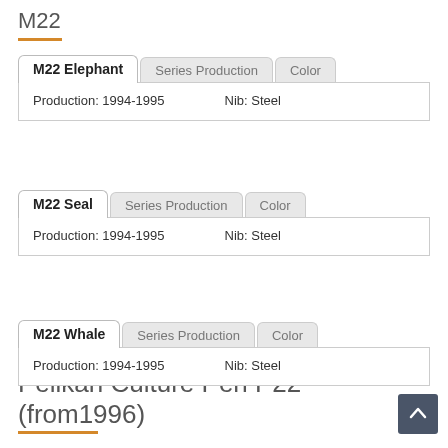M22
| M22 Elephant | Series Production | Color |
| --- | --- | --- |
| Production: 1994-1995 | Nib: Steel |  |
| M22 Seal | Series Production | Color |
| --- | --- | --- |
| Production: 1994-1995 | Nib: Steel |  |
| M22 Whale | Series Production | Color |
| --- | --- | --- |
| Production: 1994-1995 | Nib: Steel |  |
Pelikan Culture Pen P22 (from1996)